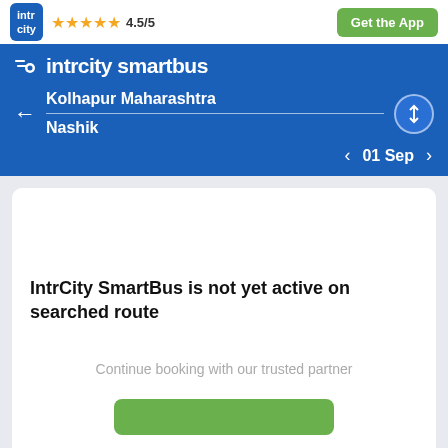[Figure (screenshot): IntrCity SmartBus app screenshot showing top bar with logo, 4.5/5 star rating, and Get the App button]
intrcity smartbus
Kolhapur Maharashtra
Nashik
01 Sep
IntrCity SmartBus is not yet active on searched route
Continue booking with our trusted partner